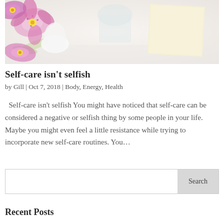[Figure (photo): Photo of orchid flowers and a beige card on a light background, shot from above on a white surface.]
Self-care isn't selfish
by Gill | Oct 7, 2018 | Body, Energy, Health
Self-care isn't selfish You might have noticed that self-care can be considered a negative or selfish thing by some people in your life. Maybe you might even feel a little resistance while trying to incorporate new self-care routines. You…
Recent Posts